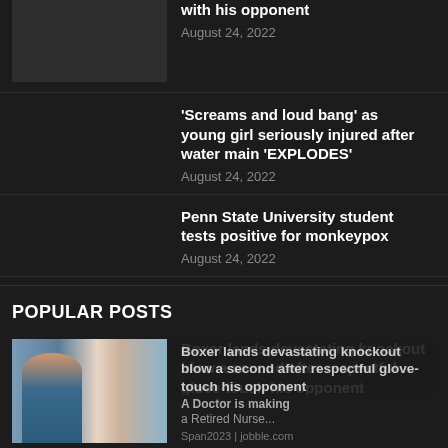[Figure (photo): Small dark thumbnail image placeholder at top left]
with his opponent
August 24, 2022
'Screams and loud bang' as young girl seriously injured after water main 'EXPLODES'
August 24, 2022
Penn State University student tests positive for monkeypox
August 24, 2022
POPULAR POSTS
Boxer lands devastating knockout blow a second after respectful glove-touch his opponent
[Figure (photo): Photo of a smiling nurse/doctor with a patient, partially overlaid by ad content]
Span2023 | jobble.com